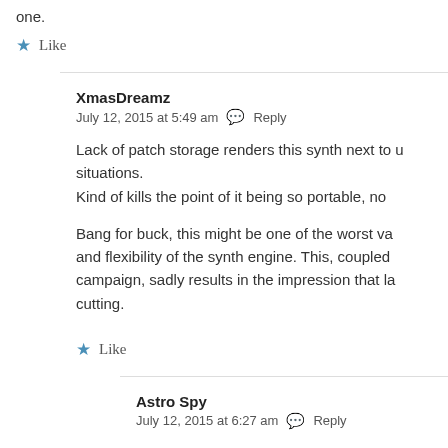one.
Like
XmasDreamz
July 12, 2015 at 5:49 am   Reply
Lack of patch storage renders this synth next to useless in live situations.
Kind of kills the point of it being so portable, no
Bang for buck, this might be one of the worst va... and flexibility of the synth engine. This, coupled w... campaign, sadly results in the impression that la... cutting.
Like
Astro Spy
July 12, 2015 at 6:27 am   Reply